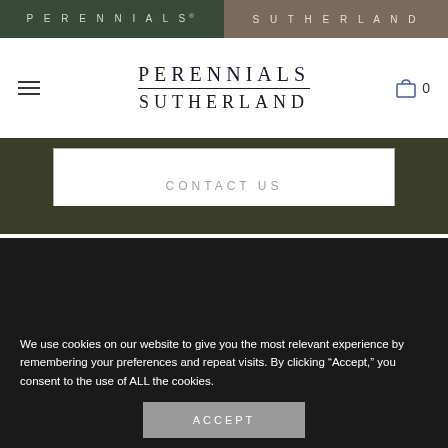PERENNIALS | SUTHERLAND
PERENNIALS SUTHERLAND
CONTACT US
We use cookies on our website to give you the most relevant experience by remembering your preferences and repeat visits. By clicking “Accept,” you consent to the use of ALL the cookies.
ACCEPT